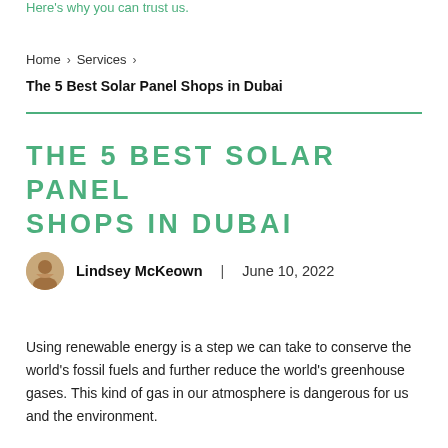Here's why you can trust us.
Home › Services ›
The 5 Best Solar Panel Shops in Dubai
THE 5 BEST SOLAR PANEL SHOPS IN DUBAI
Lindsey McKeown | June 10, 2022
Using renewable energy is a step we can take to conserve the world's fossil fuels and further reduce the world's greenhouse gases. This kind of gas in our atmosphere is dangerous for us and the environment.